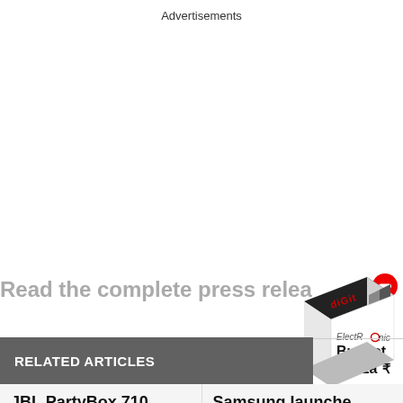Advertisements
Read the complete press release
[Figure (illustration): Digit ElectRonic Budget Bazza₹ promotional box with red minus button icon]
RELATED ARTICLES
JBL PartyBox 710,
Samsung launche